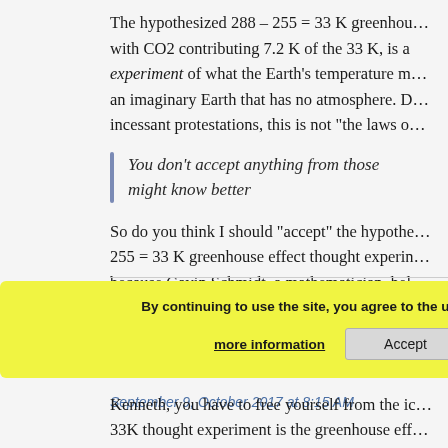The hypothesized 288 – 255 = 33 K greenhouse effect, with CO2 contributing 7.2 K of the 33 K, is a thought experiment of what the Earth's temperature might be for an imaginary Earth that has no atmosphere. Despite their incessant protestations, this is not "the laws of..."
You don't accept anything from those who might know better
So do you think I should "accept" the hypothesized 288 – 255 = 33 K greenhouse effect thought experiment because Gavin Schmidt, a mathematician, believes it should be regarded as the truth?
By continuing to use the site, you agree to the use of cookies.
more information
Accept
September 9, October 2017 at 8:15 AM
Kenneth, you have to free yourself from the idea that the 33K thought experiment is the greenhouse effect...